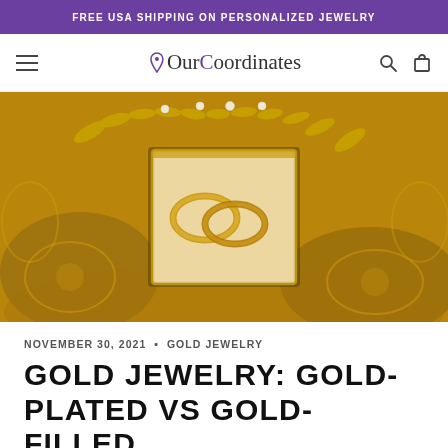FREE USA SHIPPING ON PERSONALIZED JEWELRY
[Figure (logo): OurCoordinates logo with location pin icon, navigation hamburger menu, search icon and cart icon]
[Figure (photo): Close-up photo of ornate gold jewelry pieces with a small square glass box containing two gold rings in the center, decorated with gold leaf motifs]
NOVEMBER 30, 2021  •  GOLD JEWELRY
GOLD JEWELRY: GOLD-PLATED VS GOLD-FILLED